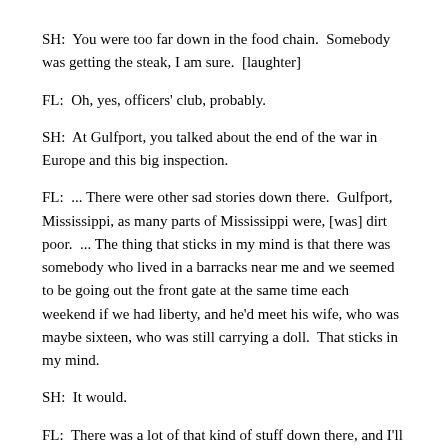SH:  You were too far down in the food chain.  Somebody was getting the steak, I am sure.  [laughter]
FL:  Oh, yes, officers' club, probably.
SH:  At Gulfport, you talked about the end of the war in Europe and this big inspection.
FL:  ... There were other sad stories down there.  Gulfport, Mississippi, as many parts of Mississippi were, [was] dirt poor.  ... The thing that sticks in my mind is that there was somebody who lived in a barracks near me and we seemed to be going out the front gate at the same time each weekend if we had liberty, and he'd meet his wife, who was maybe sixteen, who was still carrying a doll.  That sticks in my mind.
SH:  It would.
FL:  There was a lot of that kind of stuff down there, and I'll tell you another thing that's very interesting.  You know, they were the same kind of people who wouldn't let blacks, you know, sit in the front of the bus and stuff like that.  ... There are stories to tell about that, which I won't tell, but the people were very poor and they would give you the shirt off